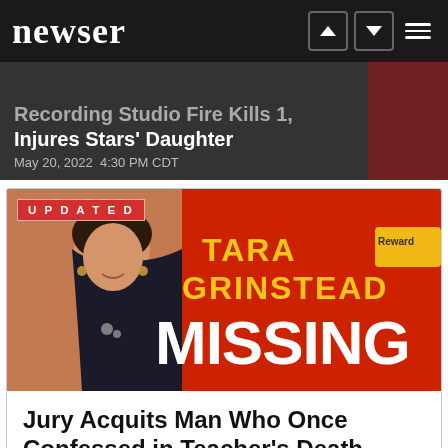newser
Recording Studio Fire Kills 1, Injures Stars' Daughter
May 20, 2022  4:30 PM CDT
[Figure (photo): Missing person billboard for Tara Grinstead showing her photo and the word MISSING in large white letters on a red background, with a Reward notice]
Jury Acquits Man Who Once Confessed in Teacher's Death
May 20, 2022  4:00 PM CDT